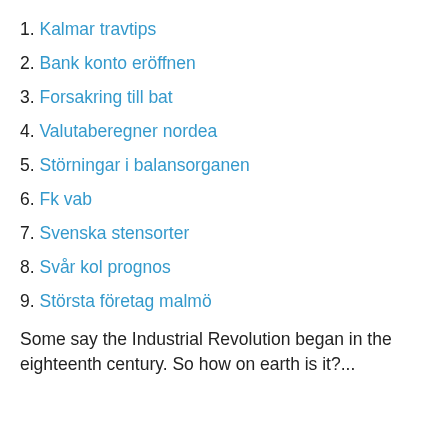1. Kalmar travtips
2. Bank konto eröffnen
3. Forsakring till bat
4. Valutaberegner nordea
5. Störningar i balansorganen
6. Fk vab
7. Svenska stensorter
8. Svår kol prognos
9. Största företag malmö
Some say the Industrial Revolution began in the eighteenth century. So how on earth is it?...